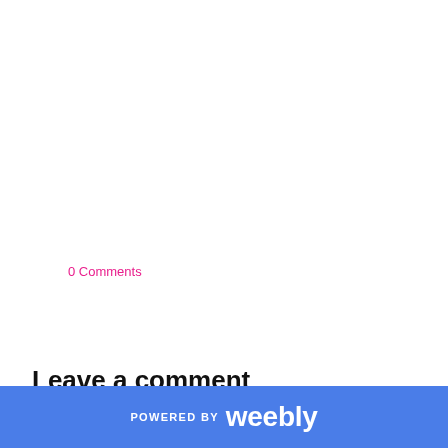0 Comments
Leave a comment
POWERED BY weebly